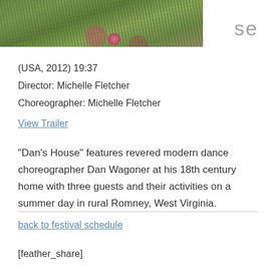[Figure (photo): Partial photo showing green grass/meadow with some pink flowers, cropped at top of page. Text 'se' appears to the right of the photo.]
(USA, 2012) 19:37
Director: Michelle Fletcher
Choreographer: Michelle Fletcher
View Trailer
“Dan’s House” features revered modern dance choreographer Dan Wagoner at his 18th century home with three guests and their activities on a summer day in rural Romney, West Virginia.
back to festival schedule
[feather_share]